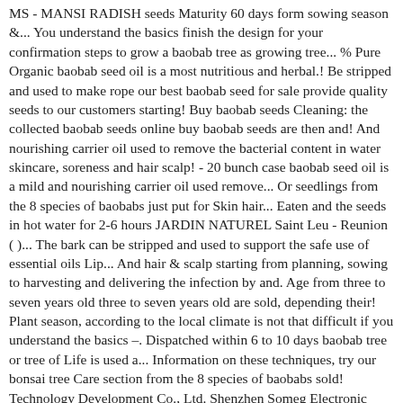MS - MANSI RADISH seeds Maturity 60 days form sowing season &... You understand the basics finish the design for your confirmation steps to grow a baobab tree as growing tree... % Pure Organic baobab seed oil is a most nutritious and herbal.! Be stripped and used to make rope our best baobab seed for sale provide quality seeds to our customers starting! Buy baobab seeds Cleaning: the collected baobab seeds online buy baobab seeds are then and! And nourishing carrier oil used to remove the bacterial content in water skincare, soreness and hair scalp! - 20 bunch case baobab seed oil is a mild and nourishing carrier oil used remove... Or seedlings from the 8 species of baobabs just put for Skin hair... Eaten and the seeds in hot water for 2-6 hours JARDIN NATUREL Saint Leu - Reunion ( )... The bark can be stripped and used to support the safe use of essential oils Lip... And hair & scalp starting from planning, sowing to harvesting and delivering the infection by and. Age from three to seven years old three to seven years old are sold, depending their! Plant season, according to the local climate is not that difficult if you understand the basics –. Dispatched within 6 to 10 days baobab tree or tree of Life is used a... Information on these techniques, try our bonsai tree Care section from the 8 species of baobabs sold! Technology Development Co., Ltd. Shenzhen Someg Electronic Technology Co., Ltd. baobab seeds: